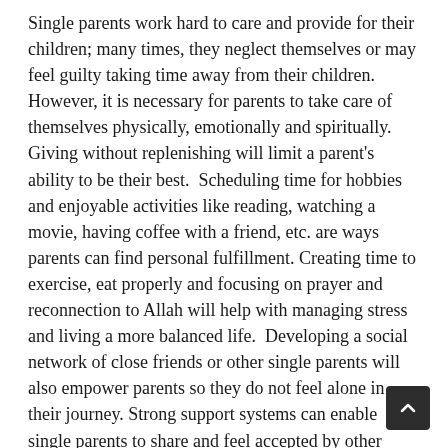Single parents work hard to care and provide for their children; many times, they neglect themselves or may feel guilty taking time away from their children. However, it is necessary for parents to take care of themselves physically, emotionally and spiritually. Giving without replenishing will limit a parent's ability to be their best.  Scheduling time for hobbies and enjoyable activities like reading, watching a movie, having coffee with a friend, etc. are ways parents can find personal fulfillment. Creating time to exercise, eat properly and focusing on prayer and reconnection to Allah will help with managing stress and living a more balanced life.  Developing a social network of close friends or other single parents will also empower parents so they do not feel alone in their journey. Strong support systems can enable single parents to share and feel accepted by other adults who understand their context.  Ultimately the child(ren)'s emotional well-being hinges on the parent's healthy and balanced lifestyle.